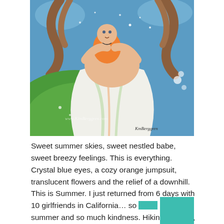[Figure (illustration): A colorful folk-art style painting of a mother in a flowing white dress holding a baby in an orange jumpsuit. The background features swirling blue skies and a green hillside. Artist signature 'KmBerggren' visible. Watermark 'www.KimBerggren.com' visible.]
Sweet summer skies, sweet nestled babe, sweet breezy feelings. This is everything. Crystal blue eyes, a cozy orange jumpsuit, translucent flowers and the relief of a downhill. This is Summer. I just returned from 6 days with 10 girlfriends in California… so much summer and so much kindness. Hiking, wading, talking, eating. All good things. […]